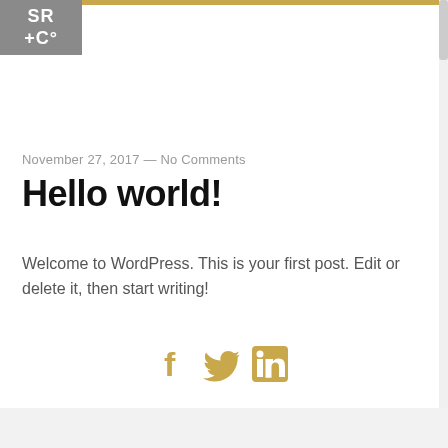[Figure (logo): SR+Co logo in white text on grey background square]
November 27, 2017 — No Comments
Hello world!
Welcome to WordPress. This is your first post. Edit or delete it, then start writing!
[Figure (other): Social media icons: Facebook, Twitter, LinkedIn in gold color]